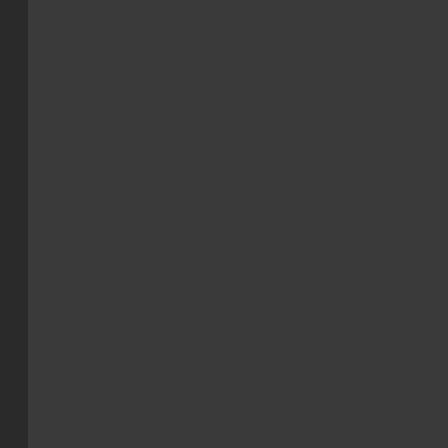mor 'put up or shu inst of 'whe I feel like it', whe you got a man by his poc boo it hurt mor than